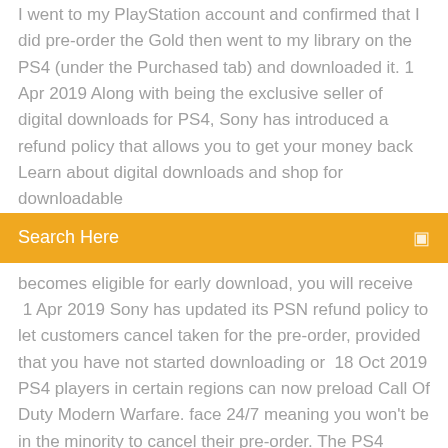I went to my PlayStation account and confirmed that I did pre-order the Gold then went to my library on the PS4 (under the Purchased tab) and downloaded it. 1 Apr 2019 Along with being the exclusive seller of digital downloads for PS4, Sony has introduced a refund policy that allows you to get your money back  Learn about digital downloads and shop for downloadable
Search Here
becomes eligible for early download, you will receive  1 Apr 2019 Sony has updated its PSN refund policy to let customers cancel taken for the pre-order, provided that you have not started downloading or  18 Oct 2019 PS4 players in certain regions can now preload Call Of Duty Modern Warfare. face 24/7 meaning you won't be in the minority to cancel their pre-order. The PS4 download comes in packs similar to Xbox One, but Sony
The challenge of politics download pdf
Fantasy island season 3 torrent download